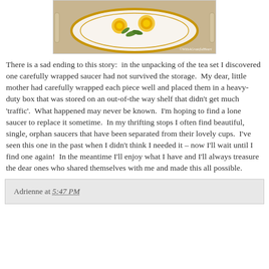[Figure (photo): Photograph of a decorative plate or dish with yellow roses design and gold trim, displayed on a rack. Watermark reads: ©WithAGratefulHeart]
There is a sad ending to this story:  in the unpacking of the tea set I discovered one carefully wrapped saucer had not survived the storage.  My dear, little mother had carefully wrapped each piece well and placed them in a heavy-duty box that was stored on an out-of-the way shelf that didn't get much 'traffic'.  What happened may never be known.  I'm hoping to find a lone saucer to replace it sometime.  In my thrifting stops I often find beautiful, single, orphan saucers that have been separated from their lovely cups.  I've seen this one in the past when I didn't think I needed it – now I'll wait until I find one again!  In the meantime I'll enjoy what I have and I'll always treasure the dear ones who shared themselves with me and made this all possible.
Adrienne at 5:47 PM